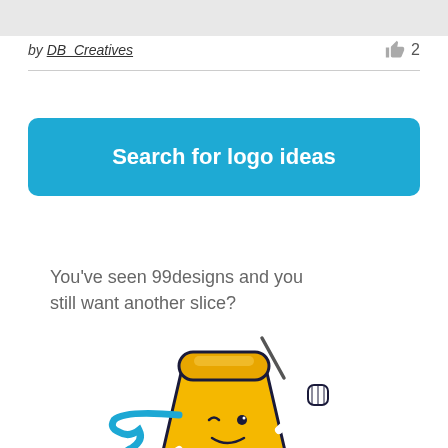by DB_Creatives  👍 2
Search for logo ideas
You've seen 99designs and you still want another slice?
[Figure (illustration): Cartoon mascot of an animated pizza slice character with a face, wearing clothes, running and pointing with a blue dripping nose]